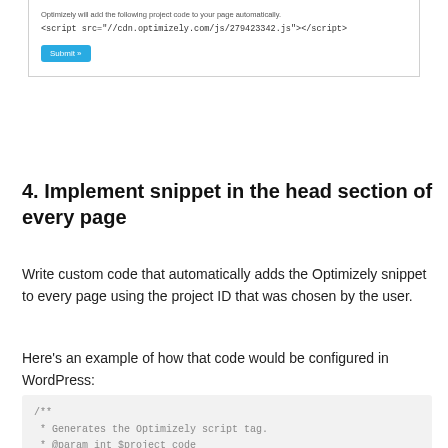[Figure (screenshot): Screenshot showing Optimizely project code snippet with a script tag and Submit button]
4. Implement snippet in the head section of every page
Write custom code that automatically adds the Optimizely snippet to every page using the project ID that was chosen by the user.
Here’s an example of how that code would be configured in WordPress:
[Figure (screenshot): Code block showing PHP function optimizely_generate_script with comment block and return statement]